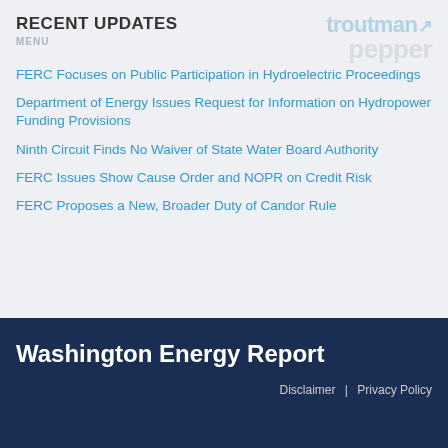RECENT UPDATES
MENU
[Figure (logo): Troutman Pepper law firm logo in light blue and grey tones]
FERC Focuses on Public Participation in Hydroelectric Proceedings
Department of Energy Issues Request for Information on Hydropower Funding Provisions
Ninth Circuit Finds No Waiver of State Water Board Authority
FERC Issues Show Cause Order and NOPR on Credit Risk
FERC Proposes a New, Broader Duty of Candor Rule
Washington Energy Report
Disclaimer | Privacy Policy